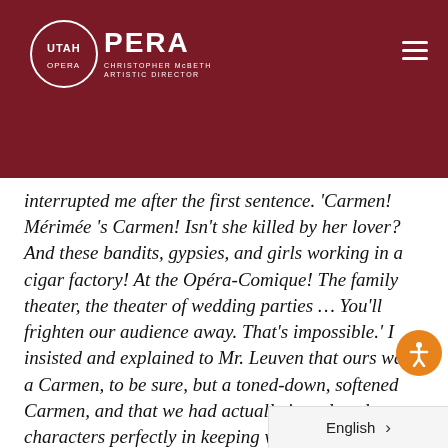Utah Opera — Christopher McBeth, Artistic Director
interrupted me after the first sentence. 'Carmen! Mérimée 's Carmen! Isn't she killed by her lover? And these bandits, gypsies, and girls working in a cigar factory! At the Opéra-Comique! The family theater, the theater of wedding parties … You'll frighten our audience away. That's impossible.' I insisted and explained to Mr. Leuven that ours was a Carmen, to be sure, but a toned-down, softened Carmen, and that we had actually introduced some characters perfectly in keeping wit the style of the opéra-comique, espec